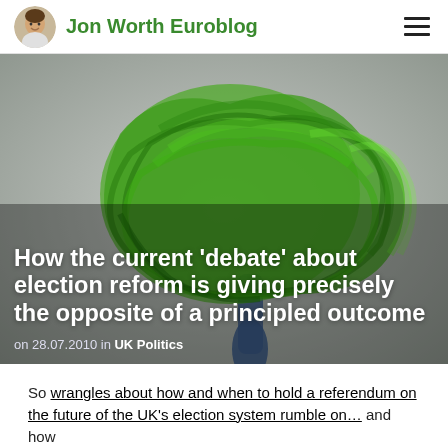Jon Worth Euroblog
[Figure (illustration): Abstract green scribble tree illustration on grey background, with a blue tree trunk shape. Background hero image for the blog post.]
How the current ‘debate’ about election reform is giving precisely the opposite of a principled outcome
on 28.07.2010 in UK Politics
So wrangles about how and when to hold a referendum on the future of the UK’s election system rumble on… and how